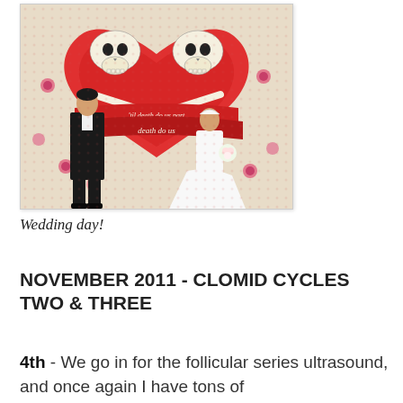[Figure (photo): Wedding photo of a bride in a white gown and groom in a black tuxedo standing in front of a colorful mural depicting two skulls facing each other inside a heart with roses, and a banner reading 'til death do us part']
Wedding day!
NOVEMBER 2011 - CLOMID CYCLES TWO & THREE
4th - We go in for the follicular series ultrasound, and once again I have tons of